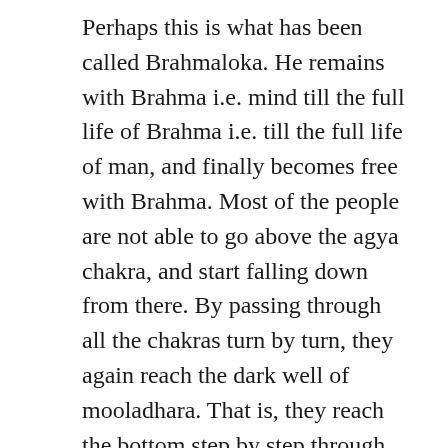Perhaps this is what has been called Brahmaloka. He remains with Brahma i.e. mind till the full life of Brahma i.e. till the full life of man, and finally becomes free with Brahma. Most of the people are not able to go above the agya chakra, and start falling down from there. By passing through all the chakras turn by turn, they again reach the dark well of mooladhara. That is, they reach the bottom step by step through the lower consciousness. From there, their growth starts again, and they slowly rise up. Human beings after attaining the human life or agya chakra, and without attaining the Supreme Soul, start falling down again, taking the form of different creatures. In this way the cycle of birth and death continues over and over again. Today the world is also situated at this last juncture of agya chakra, from where it seems to have started falling down due to not being able to take the last leap for Satyayuga or abode of truth or